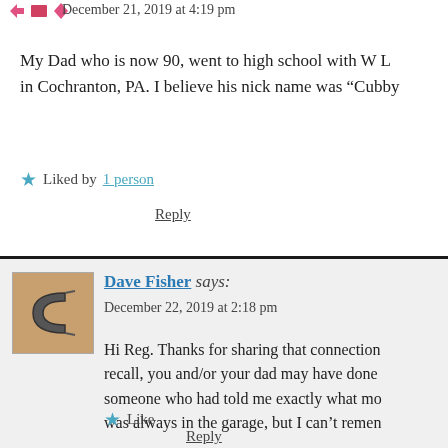December 21, 2019 at 4:19 pm
My Dad who is now 90, went to high school with W L in Cochranton, PA. I believe his nick name was “Cubby
Liked by 1 person
Reply
Dave Fisher says:
December 22, 2019 at 2:18 pm
Hi Reg. Thanks for sharing that connection. If I recall, you and/or your dad may have done someone who had told me exactly what mo was always in the garage, but I can’t remen
Like
Reply